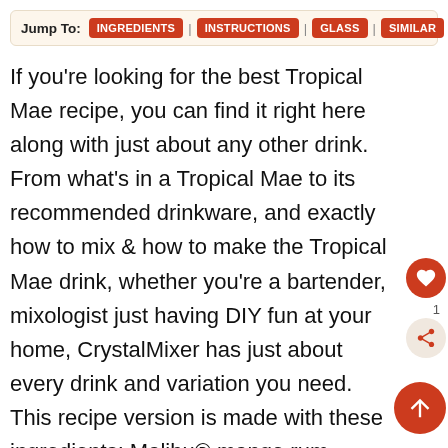Jump To: INGREDIENTS | INSTRUCTIONS | GLASS | SIMILAR
If you're looking for the best Tropical Mae recipe, you can find it right here along with just about any other drink. From what's in a Tropical Mae to its recommended drinkware, and exactly how to mix & how to make the Tropical Mae drink, whether you're a bartender, mixologist just having DIY fun at your home, CrystalMixer has just about every drink and variation you need. This recipe version is made with these ingredients: Malibu® mango rum, Malibu® coconut rum, mango juice, pineapple juice, orange juice. Some of the best well-known cocktails from the classics to the latest to not